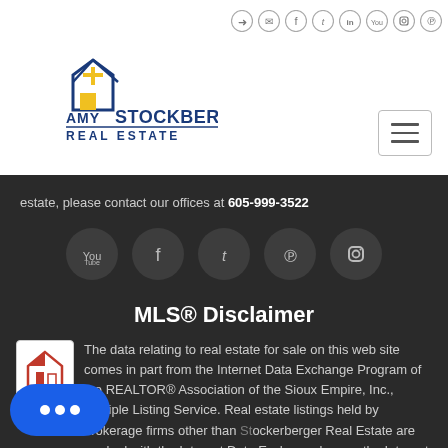[Figure (logo): Amy Stockberger Real Estate logo with house icon]
Social media icons: login, email, facebook, twitter, linkedin, youtube, instagram, pinterest
estate, please contact our offices at 605-999-3522
[Figure (infographic): Social media icon circles: YouTube, Facebook, Twitter, Pinterest, Instagram]
MLS® Disclaimer
The data relating to real estate for sale on this web site comes in part from the Internet Data Exchange Program of the REALTOR® Association of the Sioux Empire, Inc., Multiple Listing Service. Real estate listings held by brokerage firms other than Stockberger Real Estate are marked with the Internet Data Exchange logo or the Internet Data Exchange thumbnail logo (a